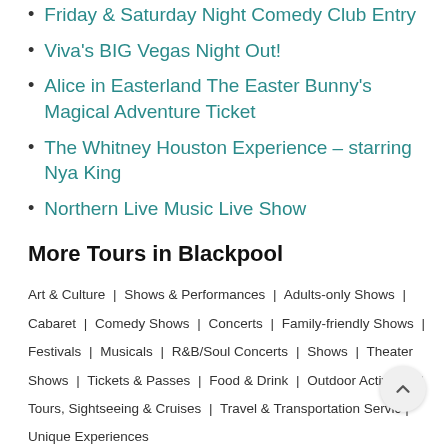Friday & Saturday Night Comedy Club Entry
Viva's BIG Vegas Night Out!
Alice in Easterland The Easter Bunny's Magical Adventure Ticket
The Whitney Houston Experience – starring Nya King
Northern Live Music Live Show
More Tours in Blackpool
Art & Culture | Shows & Performances | Adults-only Shows | Cabaret | Comedy Shows | Concerts | Family-friendly Shows | Festivals | Musicals | R&B/Soul Concerts | Shows | Theater Shows | Tickets & Passes | Food & Drink | Outdoor Activities | Tours, Sightseeing & Cruises | Travel & Transportation Services | Unique Experiences